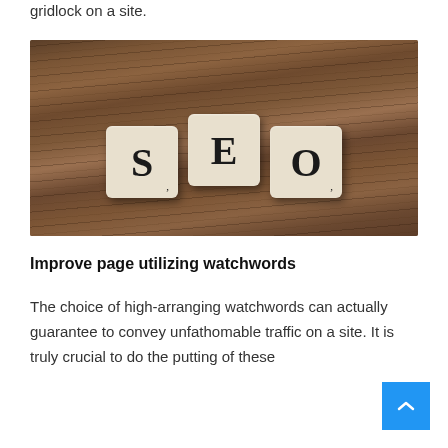gridlock on a site.
[Figure (photo): Three Scrabble tiles spelling SEO on a wooden surface background]
Improve page utilizing watchwords
The choice of high-arranging watchwords can actually guarantee to convey unfathomable traffic on a site. It is truly crucial to do the putting of these